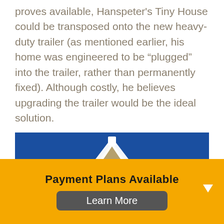proves available, Hanspeter's Tiny House could be transposed onto the new heavy-duty trailer (as mentioned earlier, his home was engineered to be “plugged” into the trailer, rather than permanently fixed). Although costly, he believes upgrading the trailer would be the ideal solution.
[Figure (photo): Roof peak of a small house with white trim and wood framing against a blue sky]
Payment Plans Available
Learn More